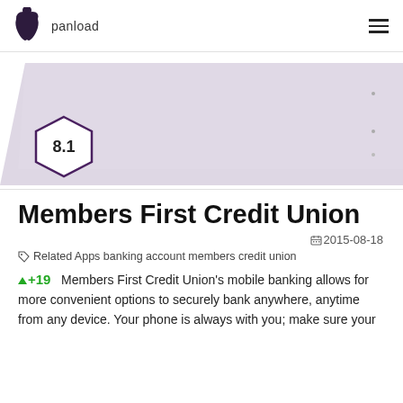panload
[Figure (screenshot): Blurred banner image with light purple/grey rhombus shape and a hexagonal badge showing score 8.1]
Members First Credit Union
2015-08-18
Related Apps banking account members credit union
+19  Members First Credit Union's mobile banking allows for more convenient options to securely bank anywhere, anytime from any device. Your phone is always with you; make sure your